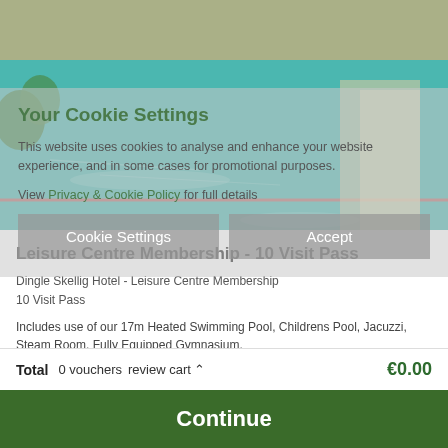[Figure (photo): Indoor swimming pool with turquoise water, lane dividers, children's pool area visible, warm ambient lighting]
Your Cookie Settings
This website uses cookies to analyse and enhance your website experience, and in some cases for promotional purposes.
View Privacy & Cookie Policy for full details
Leisure Centre Membership - 10 Visit Pass
Dingle Skellig Hotel - Leisure Centre Membership
10 Visit Pass
Includes use of our 17m Heated Swimming Pool, Childrens Pool, Jacuzzi, Steam Room, Fully Equipped Gymnasium.
€99.00
Add to cart
Total   0 vouchers   review cart ^   €0.00
Continue